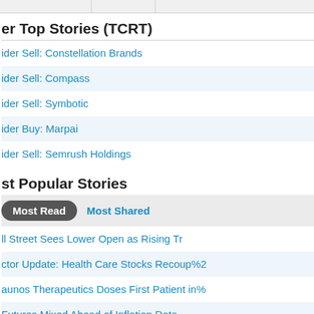er Top Stories (TCRT)
ider Sell: Constellation Brands
ider Sell: Compass
ider Sell: Symbotic
ider Buy: Marpai
ider Sell: Semrush Holdings
st Popular Stories
Most Read   Most Shared
ll Street Sees Lower Open as Rising Tr
ctor Update: Health Care Stocks Recoup%2
aunos Therapeutics Doses First Patient in%
Futures Mixed Ahead of Inflation Data
ntor Fitzgerald Assumes Alaunos Therapeutics
st Popular Keyword Searches
R A R A u s e r E n t e r s e a r c h...